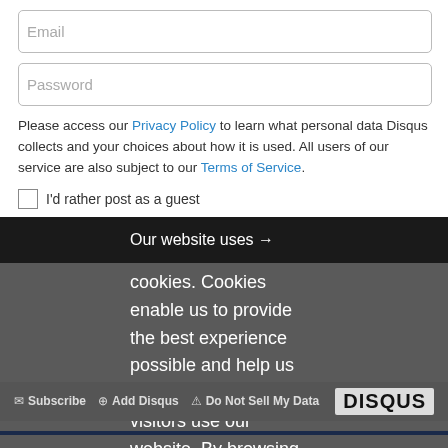Email
Password
Please access our Privacy Policy to learn what personal data Disqus collects and your choices about how it is used. All users of our service are also subject to our Terms of Service.
I'd rather post as a guest
Our website uses cookies. Cookies enable us to provide the best experience possible and help us understand how visitors use our website. By browsing bankinfosecurity.com, you agree to our use of cookies.
Be the first to comment.
Subscribe  Add Disqus  Do Not Sell My Data  DISQUS